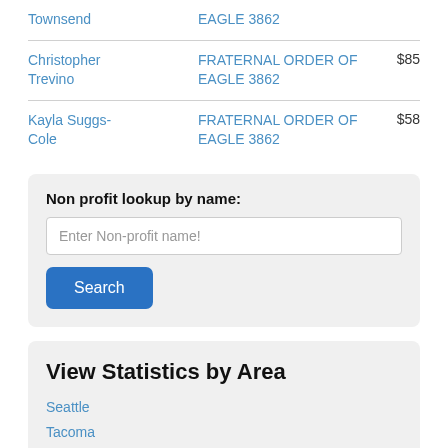| Name | Organization | Amount |
| --- | --- | --- |
| Townsend | EAGLE 3862 |  |
| Christopher Trevino | FRATERNAL ORDER OF EAGLE 3862 | $85 |
| Kayla Suggs-Cole | FRATERNAL ORDER OF EAGLE 3862 | $58 |
Non profit lookup by name:
Enter Non-profit name!
Search
View Statistics by Area
Seattle
Tacoma